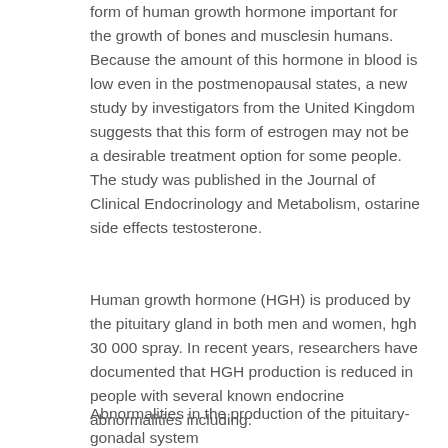form of human growth hormone important for the growth of bones and musclesin humans. Because the amount of this hormone in blood is low even in the postmenopausal states, a new study by investigators from the United Kingdom suggests that this form of estrogen may not be a desirable treatment option for some people. The study was published in the Journal of Clinical Endocrinology and Metabolism, ostarine side effects testosterone.
Human growth hormone (HGH) is produced by the pituitary gland in both men and women, hgh 30 000 spray. In recent years, researchers have documented that HGH production is reduced in people with several known endocrine abnormalities including:
Abnormalities in the production of the pituitary-gonadal system